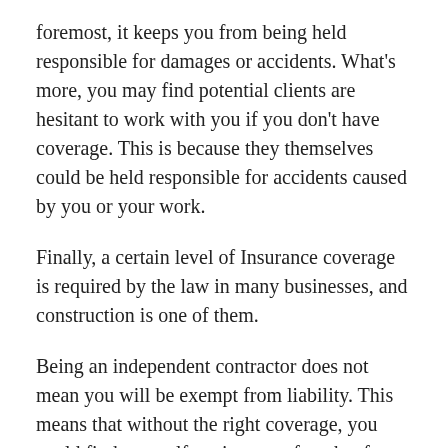foremost, it keeps you from being held responsible for damages or accidents. What's more, you may find potential clients are hesitant to work with you if you don't have coverage. This is because they themselves could be held responsible for accidents caused by you or your work.
Finally, a certain level of Insurance coverage is required by the law in many businesses, and construction is one of them.
Being an independent contractor does not mean you will be exempt from liability. This means that without the right coverage, you could find yourself paying out of pocket for any lawsuits taken out against you due to damages done by your work. On top of paying damages, you'll also have to pay legal fees. However, if you take out a General Liability coverage, you won't find yourself in this situation. That is why this type of coverage is essential in this industry.